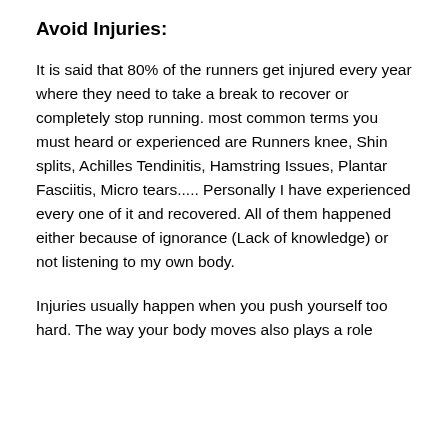Avoid Injuries:
It is said that 80% of the runners get injured every year where they need to take a break to recover or completely stop running. most common terms you must heard or experienced are Runners knee, Shin splits, Achilles Tendinitis, Hamstring Issues, Plantar Fasciitis, Micro tears..... Personally I have experienced every one of it and recovered. All of them happened either because of ignorance (Lack of knowledge) or not listening to my own body.
Injuries usually happen when you push yourself too hard. The way your body moves also plays a role